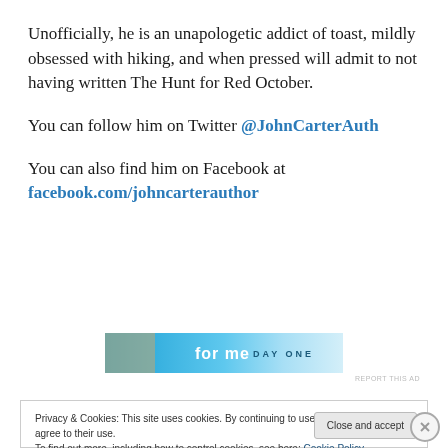Unofficially, he is an unapologetic addict of toast, mildly obsessed with hiking, and when pressed will admit to not having written The Hunt for Red October.

You can follow him on Twitter @JohnCarterAuth

You can also find him on Facebook at facebook.com/johncarterauthor
[Figure (screenshot): Advertisement banner with cyan/blue gradient background showing 'for me' text and 'DAY ONE' branding on the right]
Privacy & Cookies: This site uses cookies. By continuing to use this website, you agree to their use.
To find out more, including how to control cookies, see here: Cookie Policy